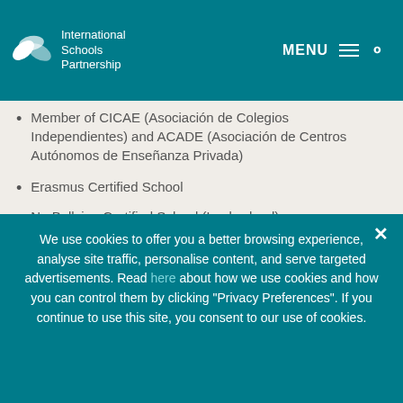International Schools Partnership — MENU navigation header
Member of CICAE (Asociación de Colegios Independientes) and ACADE (Asociación de Centros Autónomos de Enseñanza Privada)
Erasmus Certified School
No Bullying Certified School (Lookschool)
INTERNACIONAL ARAVACA
Calle Santa Bernardita 3, 28023 Madrid, Spain
We use cookies to offer you a better browsing experience, analyse site traffic, personalise content, and serve targeted advertisements. Read here about how we use cookies and how you can control them by clicking "Privacy Preferences". If you continue to use this site, you consent to our use of cookies.